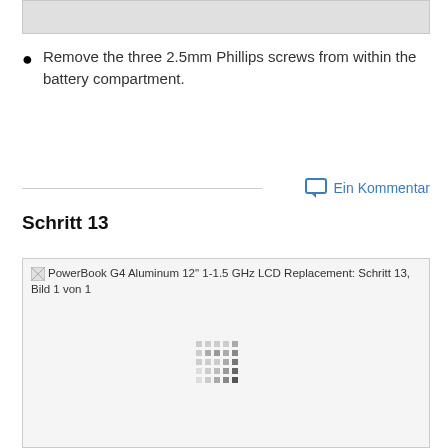[Figure (photo): Top portion of a device image, partially cropped, showing a light gray surface.]
Remove the three 2.5mm Phillips screws from within the battery compartment.
Ein Kommentar
Schritt 13
[Figure (photo): PowerBook G4 Aluminum 12" 1-1.5 GHz LCD Replacement: Schritt 13, Bild 1 von 1. Image loading placeholder with dot pattern.]